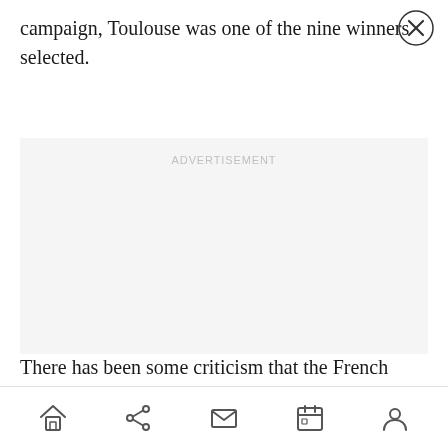campaign, Toulouse was one of the nine winners selected.
[Figure (other): Advertisement placeholder box with light gray background and 'ADVERTISEMENT' label]
There has been some criticism that the French
Navigation bar with home, share, mail, calendar, and profile icons